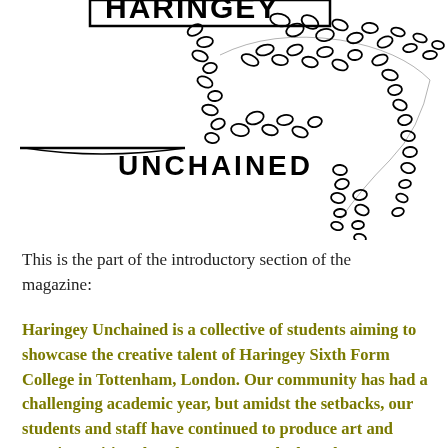[Figure (illustration): Black and white ink illustration of a figure or creature made of chains, with the text 'HARINGEY' (partially visible at top) and 'UNCHAINED' written below in bold lettering. The figure appears to be a chained creature or character.]
This is the part of the introductory section of the magazine:
Haringey Unchained is a collective of students aiming to showcase the creative talent of Haringey Sixth Form College in Tottenham, London. Our community has had a challenging academic year, but amidst the setbacks, our students and staff have continued to produce art and creative writing that they are not to be heard. In